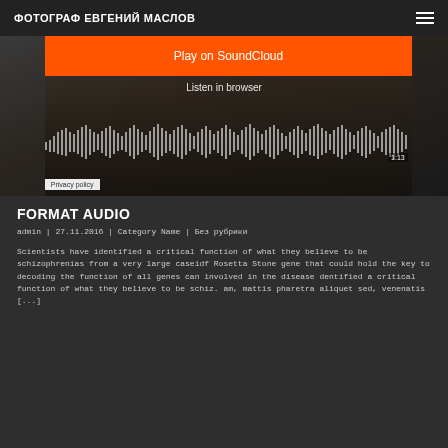ФОТОГРАФ ЕВГЕНИЙ МАСЛОВ
[Figure (screenshot): SoundCloud embedded audio player widget showing an orange 'Play on SoundCloud' button, a 'Listen in browser' option, a waveform visualization, a timestamp of 1:13, and a 'Privacy policy' link. Background shows a dark artistic/mechanical image.]
FORMAT AUDIO
admin | 27.11.2016 | Category Name | Без рубрики
Scientists have identified a critical function of what they believe to be schizophrenias from a very large caseidf Rosetta Stone gene that could hold the key to decoding the function of all genes can involved in the disease dentified a critical function of what they believe to be schiz. am, mattis pharetra aliquet sed, venenatis [...]